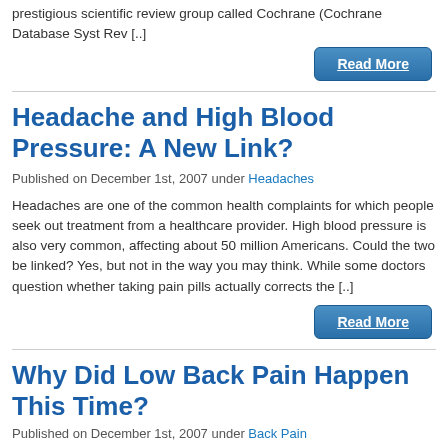prestigious scientific review group called Cochrane (Cochrane Database Syst Rev [..]
Read More
Headache and High Blood Pressure: A New Link?
Published on December 1st, 2007 under Headaches
Headaches are one of the common health complaints for which people seek out treatment from a healthcare provider. High blood pressure is also very common, affecting about 50 million Americans. Could the two be linked? Yes, but not in the way you may think. While some doctors question whether taking pain pills actually corrects the [..]
Read More
Why Did Low Back Pain Happen This Time?
Published on December 1st, 2007 under Back Pain